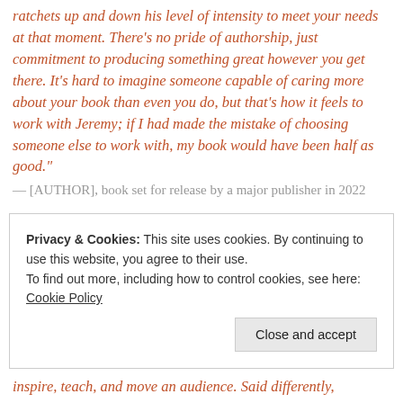ratchets up and down his level of intensity to meet your needs at that moment. There's no pride of authorship, just commitment to producing something great however you get there. It's hard to imagine someone capable of caring more about your book than even you do, but that's how it feels to work with Jeremy; if I had made the mistake of choosing someone else to work with, my book would have been half as good."
— [AUTHOR], book set for release by a major publisher in 2022
Privacy & Cookies: This site uses cookies. By continuing to use this website, you agree to their use.
To find out more, including how to control cookies, see here: Cookie Policy
Close and accept
inspire, teach, and move an audience. Said differently,